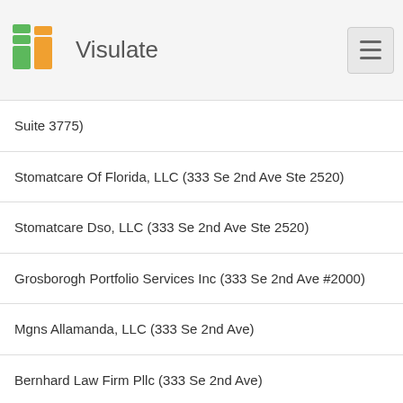Visulate
Suite 3775)
Stomatcare Of Florida, LLC (333 Se 2nd Ave Ste 2520)
Stomatcare Dso, LLC (333 Se 2nd Ave Ste 2520)
Grosborogh Portfolio Services Inc (333 Se 2nd Ave #2000)
Mgns Allamanda, LLC (333 Se 2nd Ave)
Bernhard Law Firm Pllc (333 Se 2nd Ave)
Blesthealth LLC (333 Se 2nd Ave)
Pearline Blackwood, LLC (333 Se 2nd Ave)
New Image Recovery Home, LLC (333 Se 2nd Ave)
Gallop Logistics Operation LLC (333 Se 2nd Ave)